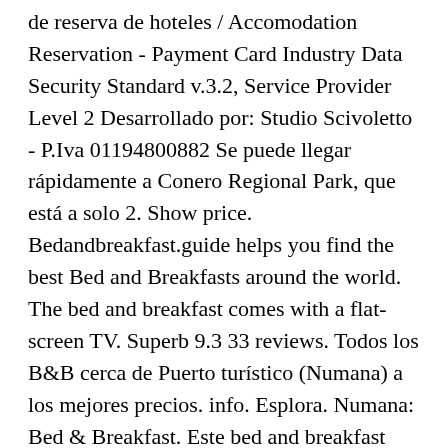de reserva de hoteles / Accomodation Reservation - Payment Card Industry Data Security Standard v.3.2, Service Provider Level 2 Desarrollado por: Studio Scivoletto - P.Iva 01194800882 Se puede llegar rápidamente a Conero Regional Park, que está a solo 2. Show price. Bedandbreakfast.guide helps you find the best Bed and Breakfasts around the world. The bed and breakfast comes with a flat-screen TV. Superb 9.3 33 reviews. Todos los B&B cerca de Puerto turístico (Numana) a los mejores precios. info. Esplora. Numana: Bed & Breakfast. Este bed and breakfast sirve desayunos y sombrillas de playa gratuitas. Bedandbreakfast.guide te ayuda a encontrar los mejores Bed and Breakfast del mundo.